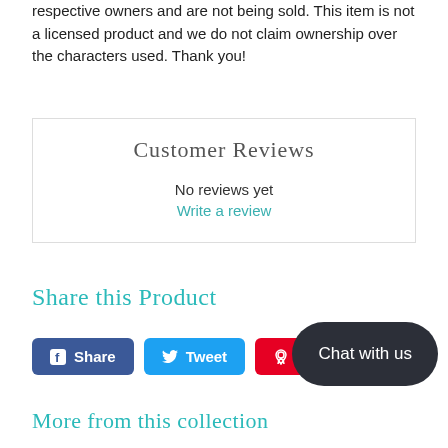respective owners and are not being sold. This item is not a licensed product and we do not claim ownership over the characters used. Thank you!
Customer Reviews
No reviews yet
Write a review
Share this Product
Share
Tweet
Pin it
Chat with us
More from this collection